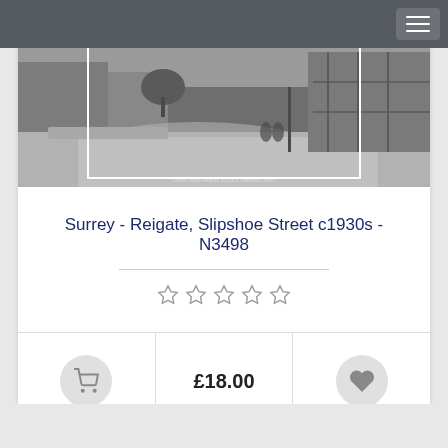[Figure (photo): Black and white photograph of Reigate, Slipshoe Street c1930s showing a street scene with buildings, a curved road, and cyclists]
Surrey - Reigate, Slipshoe Street c1930s - N3498
£18.00